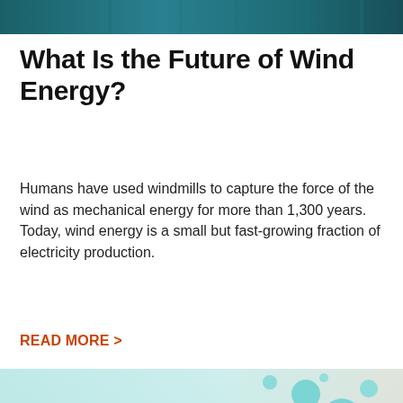[Figure (photo): Dark teal/blue tinted header image, appears to be an architectural or abstract background.]
What Is the Future of Wind Energy?
Humans have used windmills to capture the force of the wind as mechanical energy for more than 1,300 years. Today, wind energy is a small but fast-growing fraction of electricity production.
READ MORE >
[Figure (illustration): Teal/green illustrated graphic of a leaf shape with circular bubble elements, gradient background from light teal to peach/warm tone on the right.]